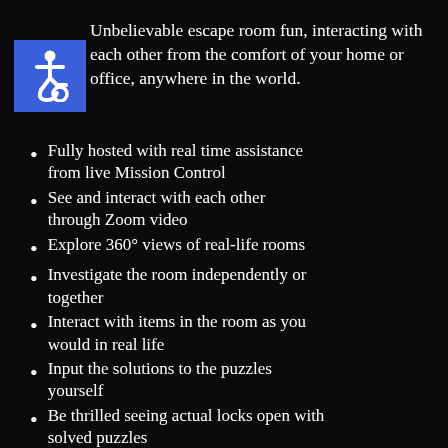Unbelievable escape room fun, interacting with each other from the comfort of your home or office, anywhere in the world.
Fully hosted with real time assistance from live Mission Control
See and interact with each other through Zoom video
Explore 360° views of real-life rooms
Investigate the room independently or together
Interact with items in the room as you would in real life
Input the solutions to the puzzles yourself
Be thrilled seeing actual locks open with solved puzzles